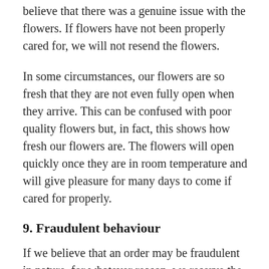believe that there was a genuine issue with the flowers. If flowers have not been properly cared for, we will not resend the flowers.
In some circumstances, our flowers are so fresh that they are not even fully open when they arrive. This can be confused with poor quality flowers but, in fact, this shows how fresh our flowers are. The flowers will open quickly once they are in room temperature and will give pleasure for many days to come if cared for properly.
9. Fraudulent behaviour
If we believe that an order may be fraudulent in nature, for whatever reason, we reserve the right to cancel the order and refund the funds. We are under no obligation